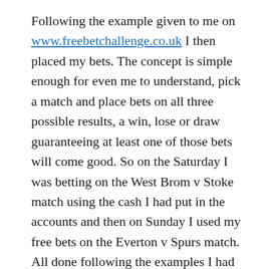Following the example given to me on www.freebetchallenge.co.uk I then placed my bets. The concept is simple enough for even me to understand, pick a match and place bets on all three possible results, a win, lose or draw guaranteeing at least one of those bets will come good. So on the Saturday I was betting on the West Brom v Stoke match using the cash I had put in the accounts and then on Sunday I used my free bets on the Everton v Spurs match. All done following the examples I had been given. Typically neither were the match I actually watched live, which was Man Utd v Swansea, the other half is a huge Man Utd fan and it was his first trip to Old Trafford, he loved it. I discovered I'm flipping petrified of heights